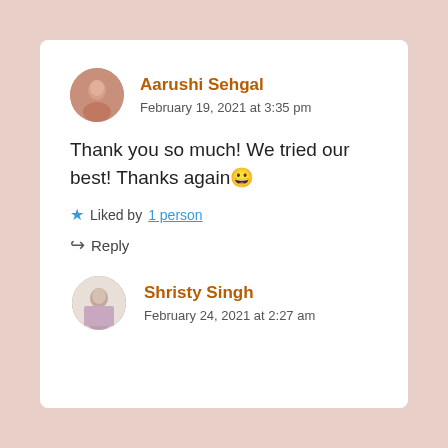Aarushi Sehgal
February 19, 2021 at 3:35 pm
Thank you so much! We tried our best! Thanks again 😀
★ Liked by 1 person
↳ Reply
Shristy Singh
February 24, 2021 at 2:27 am